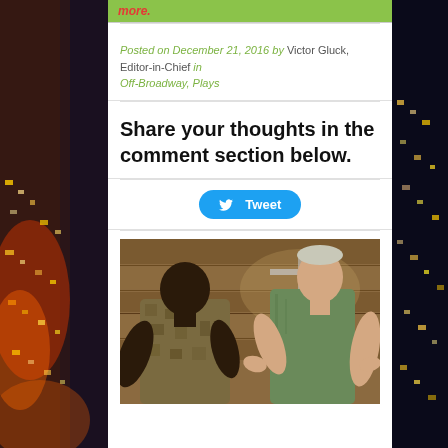more.
Posted on December 21, 2016 by Victor Gluck, Editor-in-Chief in Off-Broadway, Plays
Share your thoughts in the comment section below.
[Figure (illustration): Tweet button with Twitter bird icon]
[Figure (photo): Two men in a gym or warehouse setting — one in military fatigues, one in a green t-shirt — appearing to have an intense conversation or confrontation]